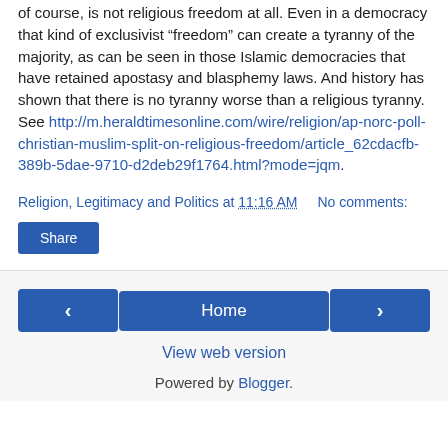of course, is not religious freedom at all. Even in a democracy that kind of exclusivist “freedom” can create a tyranny of the majority, as can be seen in those Islamic democracies that have retained apostasy and blasphemy laws. And history has shown that there is no tyranny worse than a religious tyranny. See http://m.heraldtimesonline.com/wire/religion/ap-norc-poll-christian-muslim-split-on-religious-freedom/article_62cdacfb-389b-5dae-9710-d2deb29f1764.html?mode=jqm.
Religion, Legitimacy and Politics at 11:16 AM    No comments:
Share
Home  View web version  Powered by Blogger.